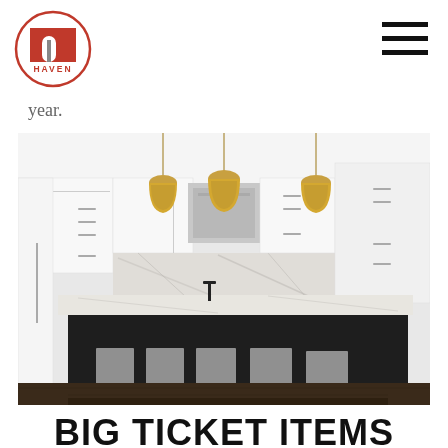[Figure (logo): Haven logo: red square with white arch/door shape inside, circular border, text HAVEN below]
[Figure (other): Hamburger menu icon with three thick horizontal black lines]
year.
[Figure (photo): Modern white kitchen with dark island, marble backsplash, three gold pendant lights hanging, five gray metal bar stools at the island]
BIG TICKET ITEMS